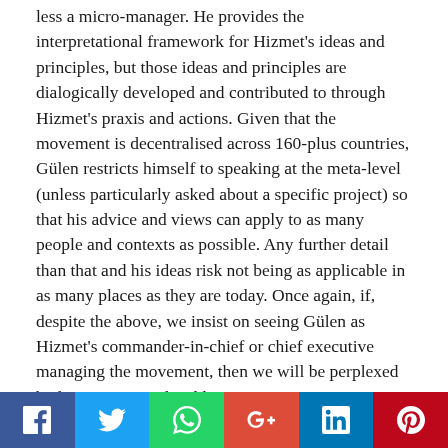less a micro-manager. He provides the interpretational framework for Hizmet's ideas and principles, but those ideas and principles are dialogically developed and contributed to through Hizmet's praxis and actions. Given that the movement is decentralised across 160-plus countries, Gülen restricts himself to speaking at the meta-level (unless particularly asked about a specific project) so that his advice and views can apply to as many people and contexts as possible. Any further detail than that and his ideas risk not being as applicable in as many places as they are today. Once again, if, despite the above, we insist on seeing Gülen as Hizmet's commander-in-chief or chief executive managing the movement, then we will be perplexed by his very generalised language.
[Figure (infographic): Social media sharing bar with icons for Facebook, Twitter, WhatsApp, Google+, LinkedIn, and Pinterest]